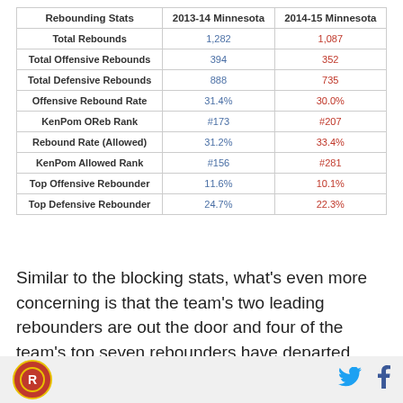| Rebounding Stats | 2013-14 Minnesota | 2014-15 Minnesota |
| --- | --- | --- |
| Total Rebounds | 1,282 | 1,087 |
| Total Offensive Rebounds | 394 | 352 |
| Total Defensive Rebounds | 888 | 735 |
| Offensive Rebound Rate | 31.4% | 30.0% |
| KenPom OReb Rank | #173 | #207 |
| Rebound Rate (Allowed) | 31.2% | 33.4% |
| KenPom Allowed Rank | #156 | #281 |
| Top Offensive Rebounder | 11.6% | 10.1% |
| Top Defensive Rebounder | 24.7% | 22.3% |
Similar to the blocking stats, what's even more concerning is that the team's two leading rebounders are out the door and four of the team's top seven rebounders have departed. Bakary Konate was solid on the defensive boards when he did see the floor, but